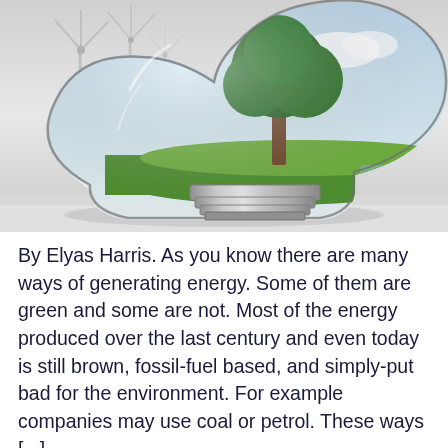[Figure (photo): A glass light bulb lying on its side with a tree and green meadow scene reflected/contained inside the bulb, set against a background with wind turbines visible in a grey-white sky.]
By Elyas Harris. As you know there are many ways of generating energy. Some of them are green and some are not. Most of the energy produced over the last century and even today is still brown, fossil-fuel based, and simply-put bad for the environment. For example companies may use coal or petrol. These ways [...]